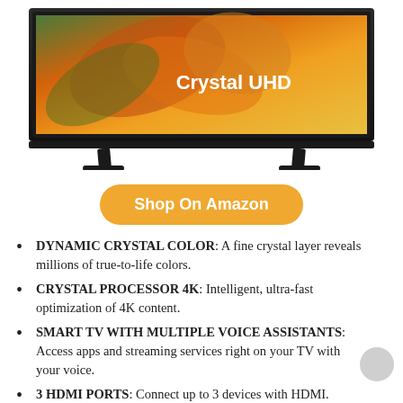[Figure (photo): Samsung Crystal UHD TV with orange/amber abstract background displayed on screen, TV mounted on stand with black frame]
Shop On Amazon
DYNAMIC CRYSTAL COLOR: A fine crystal layer reveals millions of true-to-life colors.
CRYSTAL PROCESSOR 4K: Intelligent, ultra-fast optimization of 4K content.
SMART TV WITH MULTIPLE VOICE ASSISTANTS: Access apps and streaming services right on your TV with your voice.
3 HDMI PORTS: Connect up to 3 devices with HDMI.